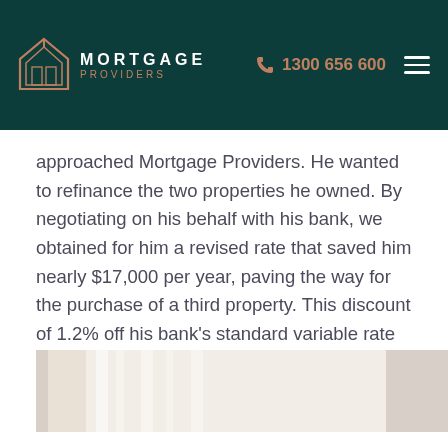MORTGAGE PROVIDERS  1300 656 600
approached Mortgage Providers. He wanted to refinance the two properties he owned. By negotiating on his behalf with his bank, we obtained for him a revised rate that saved him nearly $17,000 per year, paving the way for the purchase of a third property. This discount of 1.2% off his bank's standard variable rate mortgage made such a deep impression on the client that he continues to refer family and friends to Mortgage Providers.
[Figure (photo): Interior room photo showing light-colored walls and architectural details, partially visible at the bottom of the page]